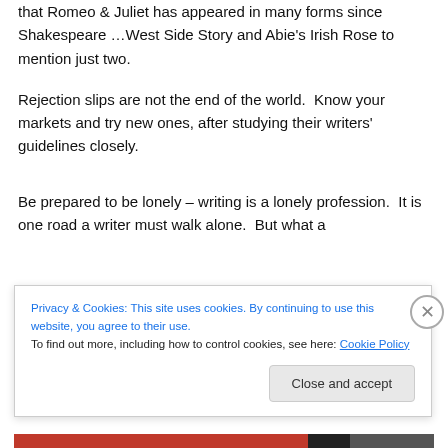that Romeo & Juliet has appeared in many forms since Shakespeare …West Side Story and Abie's Irish Rose to mention just two.
Rejection slips are not the end of the world.  Know your markets and try new ones, after studying their writers' guidelines closely.
Be prepared to be lonely – writing is a lonely profession.  It is one road a writer must walk alone.  But what a
Privacy & Cookies: This site uses cookies. By continuing to use this website, you agree to their use.
To find out more, including how to control cookies, see here: Cookie Policy